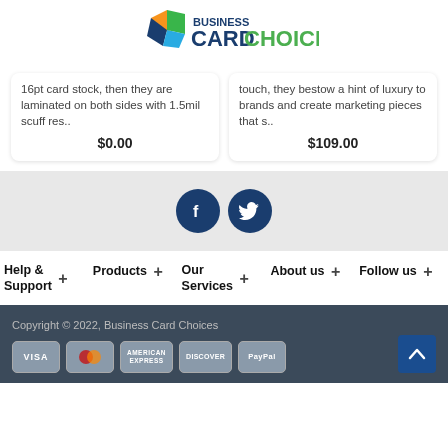[Figure (logo): Business Card Choices logo with colored diamond shapes and text]
16pt card stock, then they are laminated on both sides with 1.5mil scuff res..
$0.00
touch, they bestow a hint of luxury to brands and create marketing pieces that s..
$109.00
[Figure (illustration): Facebook and Twitter social media icon buttons (dark blue circles)]
Help & Support +
Products +
Our Services +
About us +
Follow us +
Copyright © 2022, Business Card Choices
[Figure (other): Payment method badges: VISA, Mastercard, American Express, Discover, PayPal]